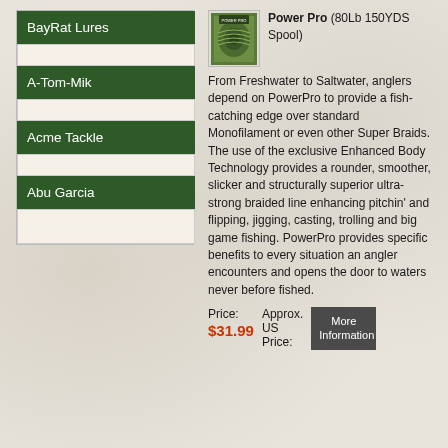BayRat Lures
A-Tom-Mik
Acme Tackle
Abu Garcia
[Figure (photo): Product image of Power Pro 80Lb 150YDS Spool braided fishing line in green packaging]
Power Pro (80Lb 150YDS Spool) From Freshwater to Saltwater, anglers depend on PowerPro to provide a fish-catching edge over standard Monofilament or even other Super Braids. The use of the exclusive Enhanced Body Technology provides a rounder, smoother, slicker and structurally superior ultra-strong braided line enhancing pitchin' and flipping, jigging, casting, trolling and big game fishing. PowerPro provides specific benefits to every situation an angler encounters and opens the door to waters never before fished.
Price: $31.99  Approx. US Price:
More Information